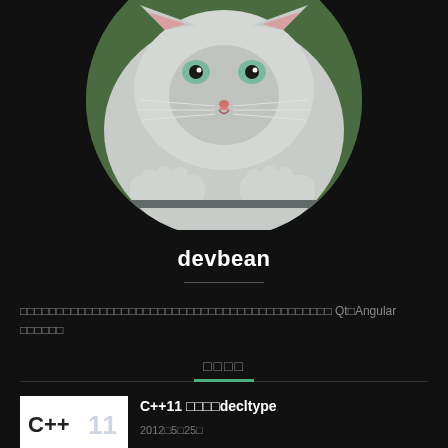[Figure (photo): Circular avatar image of a cat looking at the camera with paws on a surface, on dark background]
devbean
专注于Qt、Angular等技术的分享与交流
最新文章
C++11 深入理解decltype
2012年5月25日